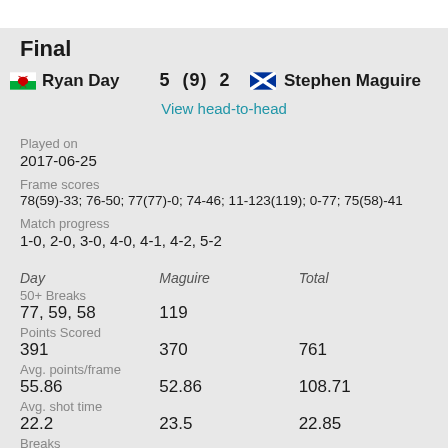Final
Ryan Day  5 (9) 2  Stephen Maguire
View head-to-head
Played on
2017-06-25
Frame scores
78(59)-33; 76-50; 77(77)-0; 74-46; 11-123(119); 0-77; 75(58)-41
Match progress
1-0, 2-0, 3-0, 4-0, 4-1, 4-2, 5-2
| Day | Maguire | Total |
| --- | --- | --- |
| 50+ Breaks |  |  |
| 77, 59, 58 | 119 |  |
| Points Scored |  |  |
| 391 | 370 | 761 |
| Avg. points/frame |  |  |
| 55.86 | 52.86 | 108.71 |
| Avg. shot time |  |  |
| 22.2 | 23.5 | 22.85 |
| Breaks |  |  |